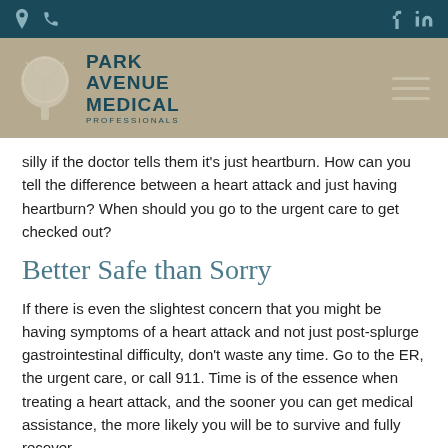Park Avenue Medical Professionals — navigation bar with location, phone, facebook, linkedin icons
[Figure (logo): Park Avenue Medical Professionals logo with tree icon and text on tan/khaki background]
silly if the doctor tells them it's just heartburn. How can you tell the difference between a heart attack and just having heartburn? When should you go to the urgent care to get checked out?
Better Safe than Sorry
If there is even the slightest concern that you might be having symptoms of a heart attack and not just post-splurge gastrointestinal difficulty, don't waste any time. Go to the ER, the urgent care, or call 911. Time is of the essence when treating a heart attack, and the sooner you can get medical assistance, the more likely you will be to survive and fully recover.